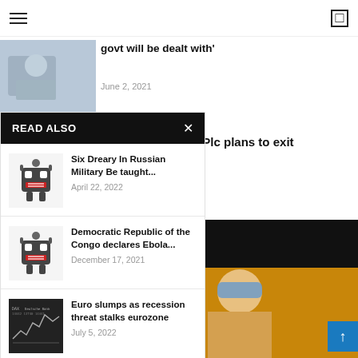Navigation bar with hamburger menu and icon
govt will be dealt with'
June 2, 2021
READ ALSO
Six Dreary In Russian Military Be taught... April 22, 2022
Democratic Republic of the Congo declares Ebola... December 17, 2021
Euro slumps as recession threat stalks eurozone July 5, 2022
h Shell Plc plans to exit